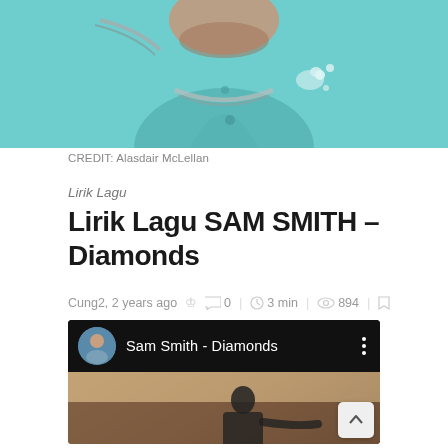[Figure (photo): Partial photo of a person wearing a teal/turquoise shirt with jewel/crystal embellishments and a chain necklace, showing from chin downward]
CREDIT: Alasdair McLellan
Lirik Lagu
Lirik Lagu SAM SMITH – Diamonds
Cung2, 2 years ago  0 | 3 min | 894 |
[Figure (screenshot): Embedded YouTube-style video player showing 'Sam Smith - Diamonds' with a circular thumbnail of Sam Smith, white text title on black bar, three-dot menu icon, and a preview frame showing a person in a dimly lit room]